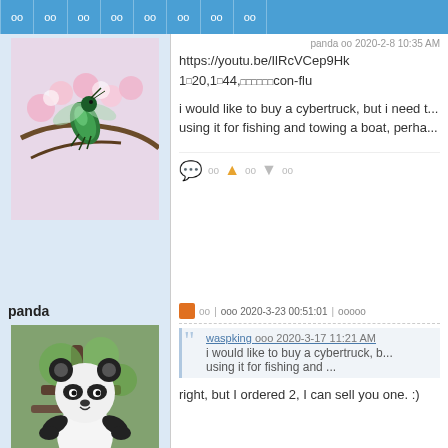oo oo oo oo oo oo oo oo
[Figure (photo): Bird (hummingbird or green beetle) on pink flowers, avatar image]
https://youtu.be/IlRcVCep9Hk
1020,1044,oooooocon-flu
i would like to buy a cybertruck, but i need t... using it for fishing and towing a boat, perha...
panda | ooo 2020-3-23 00:51:01 | ooooo
[Figure (photo): Giant panda bear cub climbing a tree, avatar image for user panda]
waspking ooo 2020-3-17 11:21 AM
i would like to buy a cybertruck, b... using it for fishing and ...
right, but I ordered 2, I can sell you one. :)